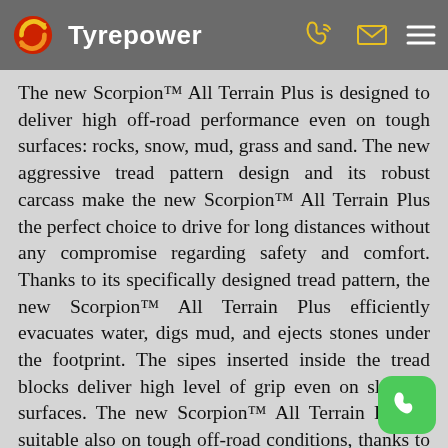Tyrepower
The new Scorpion™ All Terrain Plus is designed to deliver high off-road performance even on tough surfaces: rocks, snow, mud, grass and sand. The new aggressive tread pattern design and its robust carcass make the new Scorpion™ All Terrain Plus the perfect choice to drive for long distances without any compromise regarding safety and comfort. Thanks to its specifically designed tread pattern, the new Scorpion™ All Terrain Plus efficiently evacuates water, digs mud, and ejects stones under the footprint. The sipes inserted inside the tread blocks deliver high level of grip even on slippery surfaces. The new Scorpion™ All Terrain Plus is suitable also on tough off-road conditions, thanks to its reinforced sidewall and the shape of its